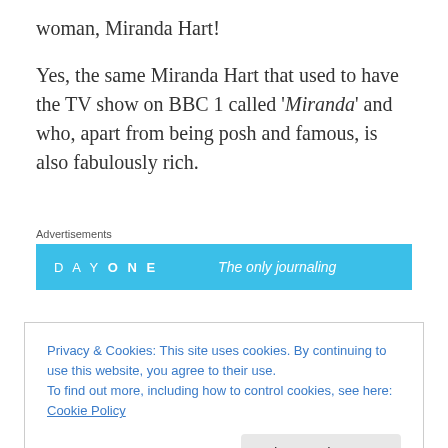woman, Miranda Hart!
Yes, the same Miranda Hart that used to have the TV show on BBC 1 called ‘Miranda’ and who, apart from being posh and famous, is also fabulously rich.
Advertisements
[Figure (screenshot): An advertisement banner showing 'DAY ONE' text with blue background and partial text 'The only journaling']
Well, like a slew of other celebrities, Miranda Hart has decided to go into the realms of fiction, specifically
Privacy & Cookies: This site uses cookies. By continuing to use this website, you agree to their use.
To find out more, including how to control cookies, see here: Cookie Policy
Close and accept